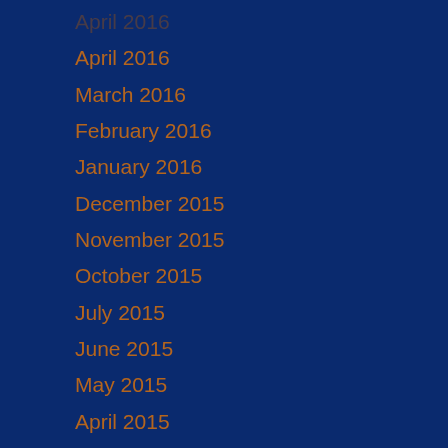April 2016
March 2016
February 2016
January 2016
December 2015
November 2015
October 2015
July 2015
June 2015
May 2015
April 2015
March 2015
February 2015